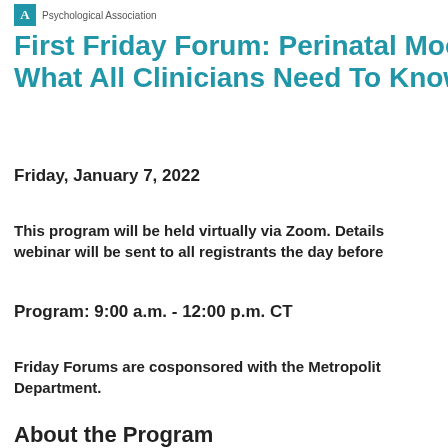Psychological Association
First Friday Forum: Perinatal Moo... What All Clinicians Need To Know
Friday, January 7, 2022
This program will be held virtually via Zoom. Details to join the webinar will be sent to all registrants the day before
Program: 9:00 a.m. - 12:00 p.m. CT
Friday Forums are cosponsored with the Metropolitan... Department.
About the Program